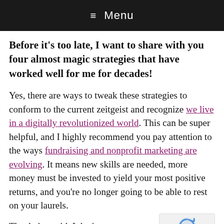≡ Menu
Before it's too late, I want to share with you four almost magic strategies that have worked well for me for decades!
Yes, there are ways to tweak these strategies to conform to the current zeitgeist and recognize we live in a digitally revolutionized world. This can be super helpful, and I highly recommend you pay attention to the ways fundraising and nonprofit marketing are evolving. It means new skills are needed, more money must be invested to yield your most positive returns, and you're no longer going to be able to rest on your laurels.
That being said, I don't want you to get so caught up in bells and whistles you neglect the fundamentals.